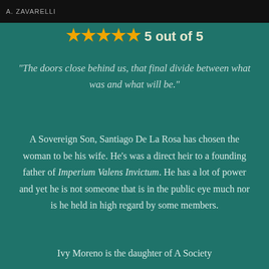[Figure (photo): Dark header image with author name 'A. ZAVARELLI' and partial book cover photo]
★★★★★ 5 out of 5
“The doors close behind us, that final divide between what was and what will be.”
A Sovereign Son, Santiago De La Rosa has chosen the woman to be his wife. He’s was a direct heir to a founding father of Imperium Valens Invictum. He has a lot of power and yet he is not someone that is in the public eye much nor is he held in high regard by some members.
Ivy Moreno is the daughter of A Society